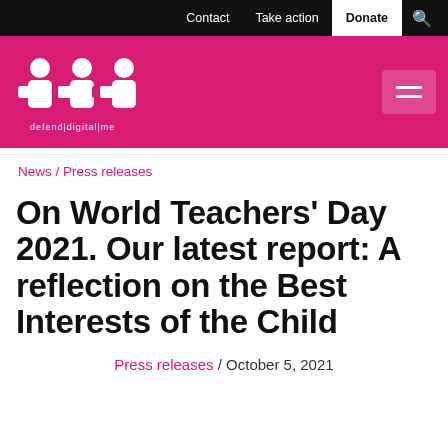Contact  Take action  Donate
[Figure (logo): Defend Digital Me logo — white puzzle-piece people figures on pink background, with text 'defend|digital|me' below]
News / Press releases
On World Teachers' Day 2021. Our latest report: A reflection on the Best Interests of the Child
Press releases / October 5, 2021